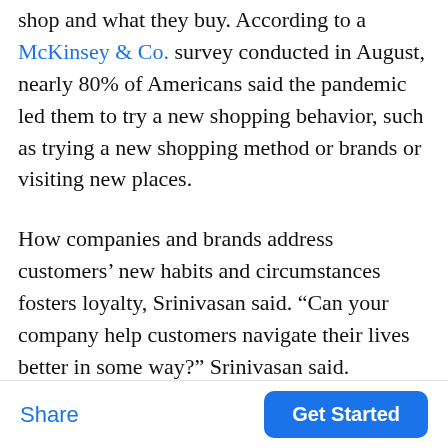shop and what they buy. According to a McKinsey & Co. survey conducted in August, nearly 80% of Americans said the pandemic led them to try a new shopping behavior, such as trying a new shopping method or brands or visiting new places.
How companies and brands address customers' new habits and circumstances fosters loyalty, Srinivasan said. “Can your company help customers navigate their lives better in some way?” Srinivasan said.
Share | Get Started